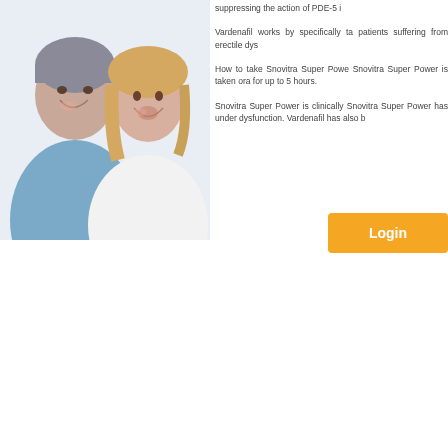[Figure (photo): A smiling middle-aged couple, man with grey hair wearing blue shirt on left, woman with blonde hair wearing white top on right, laughing together]
suppressing the action of PDE-5 i
Vardenafil works by specifically ta patients suffering from erectile dys
How to take Snovitra Super Powe Snovitra Super Power is taken ora for up to 5 hours.
Snovitra Super Power is clinically Snovitra Super Power has under dysfunction. Vardenafil has also b